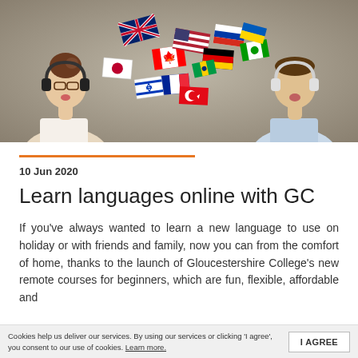[Figure (photo): Two young people facing each other wearing headphones, with illustrated international flags floating between them against a grey background.]
10 Jun 2020
Learn languages online with GC
If you've always wanted to learn a new language to use on holiday or with friends and family, now you can from the comfort of home, thanks to the launch of Gloucestershire College's new remote courses for beginners, which are fun, flexible, affordable and
Cookies help us deliver our services. By using our services or clicking 'I agree', you consent to our use of cookies. Learn more.